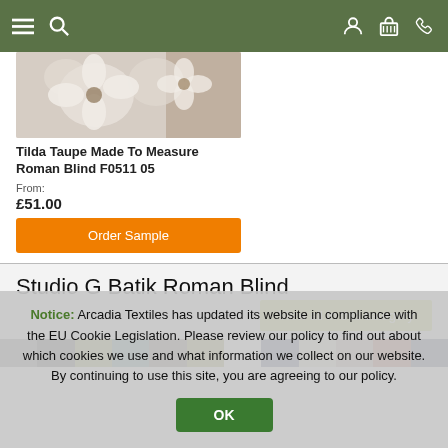Navigation bar with menu, search, account, basket, and phone icons
[Figure (photo): Tilda Taupe Made To Measure Roman Blind product image showing floral pattern in taupe and cream]
Tilda Taupe Made To Measure Roman Blind F0511 05
From: £51.00
Order Sample
Studio G Batik Roman Blind
View all in this category
[Figure (illustration): Row of color swatches showing dark grey, black, olive green, teal, dark taupe, olive, dark grey on left side and navy, cream, tan, rust/red, navy on right side]
Notice: Arcadia Textiles has updated its website in compliance with the EU Cookie Legislation. Please review our policy to find out about which cookies we use and what information we collect on our website. By continuing to use this site, you are agreeing to our policy.
OK